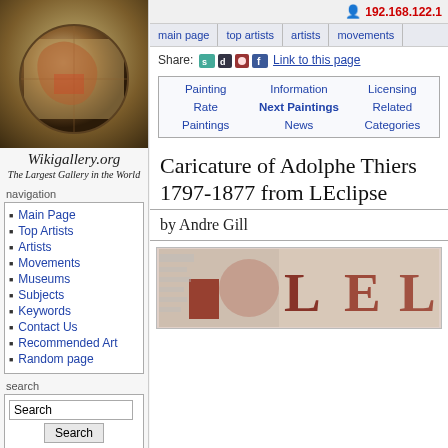[Figure (illustration): Globe showing a gallery painting scene, representing Wikigallery.org logo]
Wikigallery.org
The Largest Gallery in the World
navigation
Main Page
Top Artists
Artists
Movements
Museums
Subjects
Keywords
Contact Us
Recommended Art
Random page
search
participate
192.168.122.1
Share: [icons] Link to this page
Painting | Information | Licensing | Rate | Next Paintings | Related | Paintings | News | Categories
Caricature of Adolphe Thiers 1797-1877 from LEclipse
by Andre Gill
[Figure (illustration): Partial view of the painting 'Caricature of Adolphe Thiers' showing reddish-brown tones with large L E letters visible]